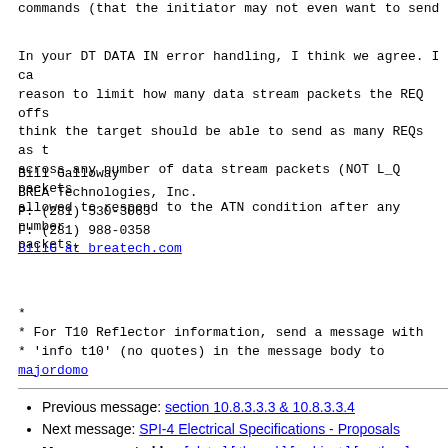commands (that the initiator may not even want to send h...
In your DT DATA IN error handling, I think we agree. I ca... reason to limit how many data stream packets the REQ offs... think the target should be able to send as many REQs as t... across any number of data stream packets (NOT L_Q packets... allowed to respond to the ATN condition after any number packets.
Bill Galloway
BREA Technologies, Inc.
P: (281) 530-3063
F: (281) 988-0358
BillG at breatech.com
*
* For T10 Reflector information, send a message with
* 'info t10' (no quotes) in the message body to majordomo...
Previous message: section 10.8.3.3.3 & 10.8.3.3.4
Next message: SPI-4 Electrical Specifications - Proposals
Messages sorted by: [ date ] [ thread ] [ subject ] [ author ]
More information about the T10 mailing list